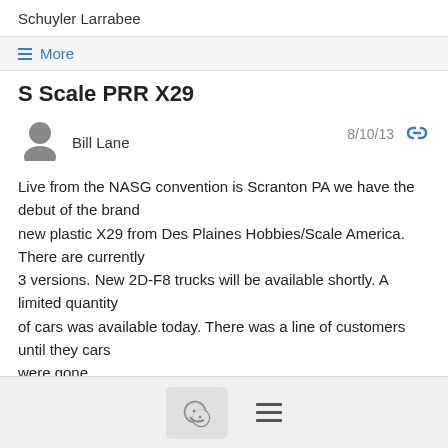Schuyler Larrabee
≡ More
S Scale PRR X29
Bill Lane  8/10/13
Live from the NASG convention is Scranton PA we have the debut of the brand new plastic X29 from Des Plaines Hobbies/Scale America. There are currently 3 versions. New 2D-F8 trucks will be available shortly. A limited quantity of cars was available today. There was a line of customers until they cars were gone.